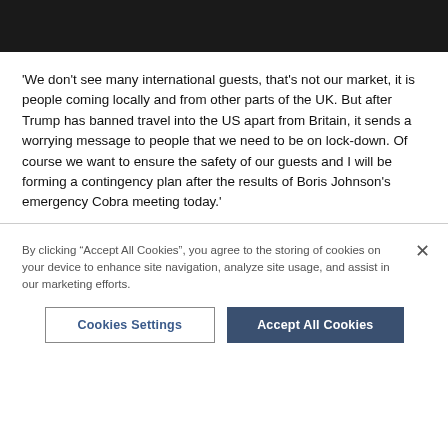[Figure (photo): Black rectangular bar at top of page, likely cropped image header]
'We don't see many international guests, that's not our market, it is people coming locally and from other parts of the UK. But after Trump has banned travel into the US apart from Britain, it sends a worrying message to people that we need to be on lock-down. Of course we want to ensure the safety of our guests and I will be forming a contingency plan after the results of Boris Johnson's emergency Cobra meeting today.'
By clicking "Accept All Cookies", you agree to the storing of cookies on your device to enhance site navigation, analyze site usage, and assist in our marketing efforts.
Cookies Settings
Accept All Cookies